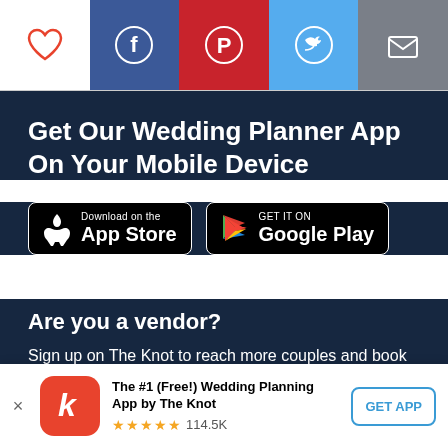[Figure (infographic): Social sharing icon bar: heart icon (white bg), Facebook icon (blue bg), Pinterest icon (red bg), Twitter icon (light blue bg), Email/envelope icon (gray bg)]
Get Our Wedding Planner App On Your Mobile Device
[Figure (infographic): App Store and Google Play download buttons]
Are you a vendor?
Sign up on The Knot to reach more couples and book more weddings!
Start Here →
[Figure (infographic): Bottom app download banner: The Knot app icon (red with k logo), text 'The #1 (Free!) Wedding Planning App by The Knot', 5-star rating with 114.5K reviews, GET APP button]